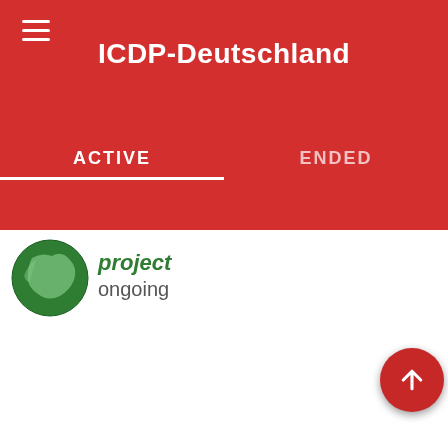ICDP-Deutschland
ACTIVE
ENDED
[Figure (logo): Green globe logo icon]
project ongoing
WADI GIDEAH, OMAN OPHIOLITE: THE KEY FOR UNDERSTANDING THE MECHANISMS OF ACCRETION, MAGMATIC EVOLUTION AND COOLING OF LOWER FAST-SPREADING OCEANIC CRUST